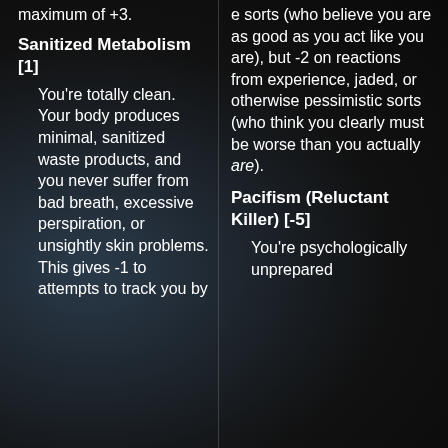maximum of +3.
Sanitized Metabolism [1]
You’re totally clean. Your body produces minimal, sanitized waste products, and you never suffer from bad breath, excessive perspiration, or unsightly skin problems. This gives -1 to attempts to track you by
e sorts (who believe you are as good as you act like you are), but -2 on reactions from experience, jaded, or otherwise pessimistic sorts (who think you clearly must be worse than you actually are).
Pacifism (Reluctant Killer) [-5]
You’re psychologically unprepared